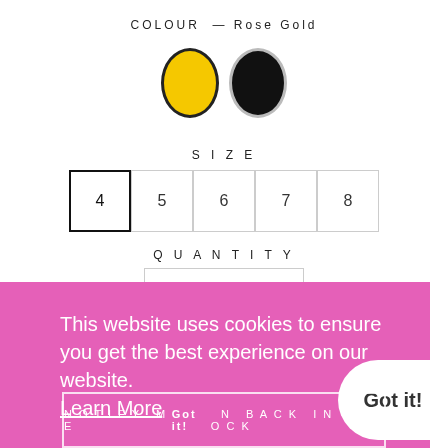COLOUR — Rose Gold
[Figure (illustration): Two oval color swatches: gold/yellow with dark border (selected), and black with light border]
SIZE
4  5  6  7  8 (size selector buttons, 4 is active/selected)
QUANTITY
— 1 + (quantity stepper)
SOLD OUT
This website uses cookies to ensure you get the best experience on our website. Learn More
Got it!
NOTIFY ME WHEN BACK IN STOCK
This stunning sandal looks and feels so comfortable with its